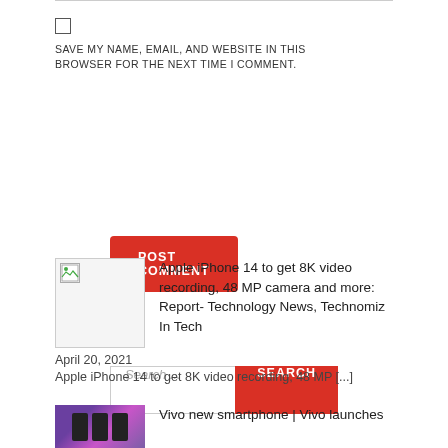SAVE MY NAME, EMAIL, AND WEBSITE IN THIS BROWSER FOR THE NEXT TIME I COMMENT.
POST COMMENT
Search...
SEARCH
Apple iPhone 14 to get 8K video recording, 48 MP camera and more: Report- Technology News, Technomiz In Tech
April 20, 2021
Apple iPhone 14 to get 8K video recording, 48 MP [...]
Vivo new smartphone | Vivo launches